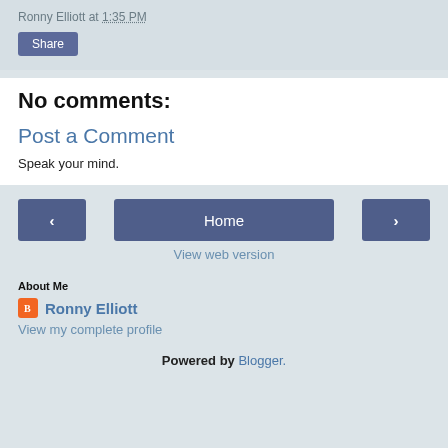Ronny Elliott at 1:35 PM
Share
No comments:
Post a Comment
Speak your mind.
< Home >
View web version
About Me
Ronny Elliott
View my complete profile
Powered by Blogger.